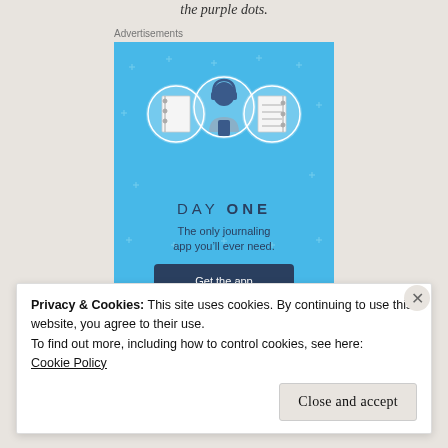the purple dots.
Advertisements
[Figure (illustration): Day One journaling app advertisement with blue background, showing three circular icons (notebook, person with headphones, lined notebook), text 'DAY ONE - The only journaling app you'll ever need.' and a dark blue 'Get the app' button]
Privacy & Cookies: This site uses cookies. By continuing to use this website, you agree to their use.
To find out more, including how to control cookies, see here:
Cookie Policy
Close and accept